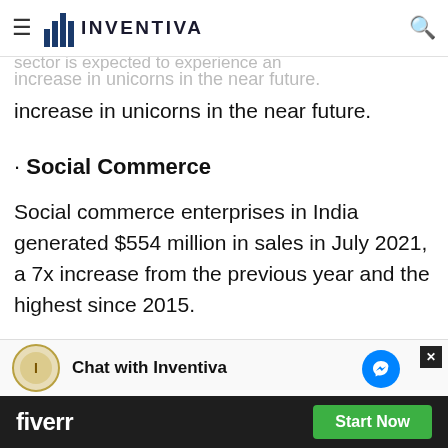Inventiva — navigation bar with hamburger menu, logo, and search icon
With the advent of health-tech companies like [Practo], [1mg], [PharmEasy], [DocsApp], [Mfine], [Lybrate], [MedCords], [eKincare], [NetMeds], [mHealthCoach], [Curefit], [HealthifyMe], and others, India's healthcare sector is expected to experience an increase in unicorns in the near future.
· Social Commerce
Social commerce enterprises in India generated $554 million in sales in July 2021, a 7x increase from the previous year and the highest since 2015.
Chat with Inventiva | fiverr — Start Now